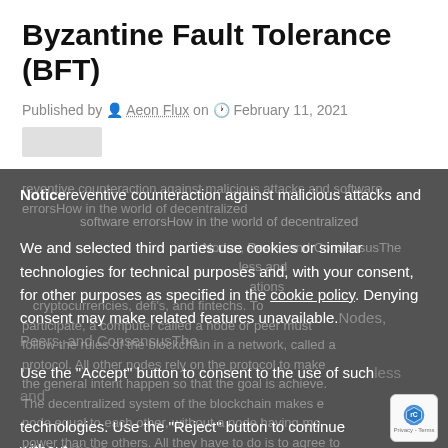Byzantine Fault Tolerance (BFT)
Published by Aeon Flux on February 11, 2021
Notice
reventive counteraction against malicious attacks and software errorsHow in the world of decentralized

We and selected third parties use cookies or similar technologies for technical purposes and, with your consent, for other purposes as specified in the cookie policy. Denying consent may make related features unavailable. Nodes, Peers, and ConsensusThe ...less and ...ations ...cryptocurrencies, defi's, and fintechs. To participate, a computer called a node or peer must follow the rules of the blockchain in a network, called a protocol. All other nodes rely on the protocol to make the general intent happen so that the goal is achieve. The decentralized system of the blockchain makes e... node equal to each other, without a node having mo... power than the others. All they have to do is to agree to
Use the "Accept" button to consent to the use of such technologies. Use the "Reject" button to continue without accepting.
Reject
Accept
Learn more and customize